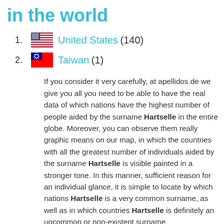in the world
United States (140)
Taiwan (1)
If you consider it very carefully, at apellidos.de we give you all you need to be able to have the real data of which nations have the highest number of people aided by the surname Hartselle in the entire globe. Moreover, you can observe them really graphic means on our map, in which the countries with all the greatest number of individuals aided by the surname Hartselle is visible painted in a stronger tone. In this manner, sufficient reason for an individual glance, it is simple to locate by which nations Hartselle is a very common surname, as well as in which countries Hartselle is definitely an uncommon or non-existent surname.